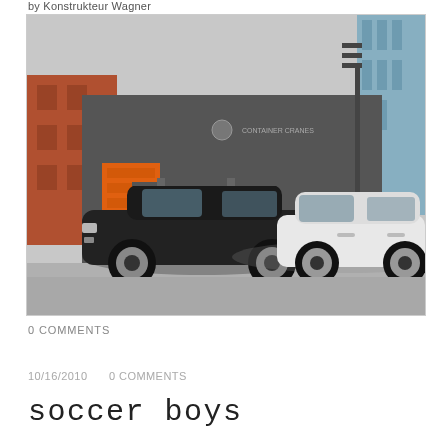by Konstrukteur Wagner
[Figure (photo): Street scene showing two cars parked in front of a large grey container/box structure. On the left is a black Audi station wagon with roof rack, on the right is a white VW Golf. Behind them is the grey structure with an orange garage door and some signage. In the background are colourful buildings and a blue glass building.]
0 COMMENTS
10/16/2010   0 COMMENTS
soccer boys